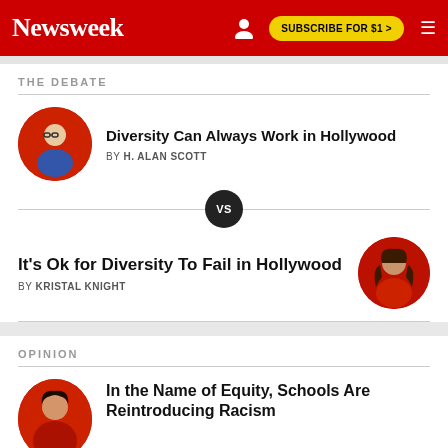Newsweek — SUBSCRIBE FOR $1 >
THE DEBATE
Diversity Can Always Work in Hollywood
BY H. ALAN SCOTT
It's Ok for Diversity To Fail in Hollywood
BY KRISTAL KNIGHT
OPINION
In the Name of Equity, Schools Are Reintroducing Racism